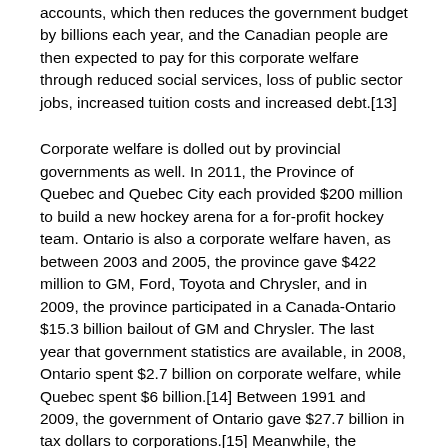accounts, which then reduces the government budget by billions each year, and the Canadian people are then expected to pay for this corporate welfare through reduced social services, loss of public sector jobs, increased tuition costs and increased debt.[13]
Corporate welfare is dolled out by provincial governments as well. In 2011, the Province of Quebec and Quebec City each provided $200 million to build a new hockey arena for a for-profit hockey team. Ontario is also a corporate welfare haven, as between 2003 and 2005, the province gave $422 million to GM, Ford, Toyota and Chrysler, and in 2009, the province participated in a Canada-Ontario $15.3 billion bailout of GM and Chrysler. The last year that government statistics are available, in 2008, Ontario spent $2.7 billion on corporate welfare, while Quebec spent $6 billion.[14] Between 1991 and 2009, the government of Ontario gave $27.7 billion in tax dollars to corporations.[15] Meanwhile, the Government of Quebec increased taxes in 2010, and the provincial sales tax increased by 2% since then, along with an increased gas tax, and of course, tuition increases.[16]
This system is, by definition, corporatist. A corporatist system